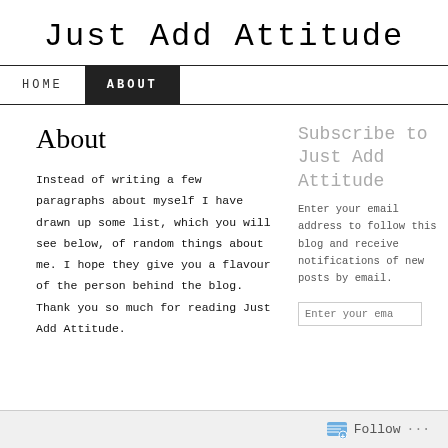Just Add Attitude
HOME   ABOUT
About
Instead of writing a few paragraphs about myself I have drawn up some list, which you will see below, of random things about me. I hope they give you a flavour of the person behind the blog. Thank you so much for reading Just Add Attitude.
Subscribe to Just Add Attitude
Enter your email address to follow this blog and receive notifications of new posts by email.
Enter your ema
Follow ...